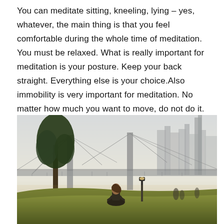You can meditate sitting, kneeling, lying – yes, whatever, the main thing is that you feel comfortable during the whole time of meditation. You must be relaxed. What is really important for meditation is your posture. Keep your back straight. Everything else is your choice.Also immobility is very important for meditation. No matter how much you want to move, do not do it.
[Figure (photo): A person sitting cross-legged in a meditative pose on a grassy hill in a park, with a large suspension bridge (Brooklyn Bridge) in the background, a tree to the left, a city skyline visible in the hazy distance, and a lamppost nearby. Warm late-afternoon light.]